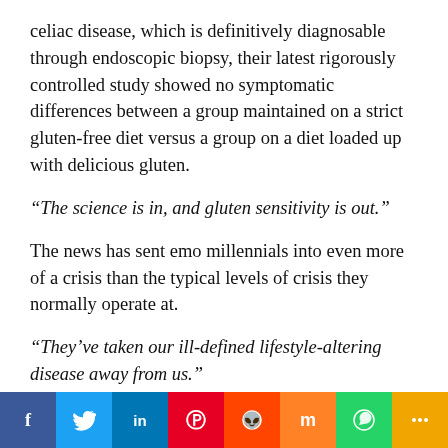celiac disease, which is definitively diagnosable through endoscopic biopsy, their latest rigorously controlled study showed no symptomatic differences between a group maintained on a strict gluten-free diet versus a group on a diet loaded up with delicious gluten.
“The science is in, and gluten sensitivity is out.”
The news has sent emo millennials into even more of a crisis than the typical levels of crisis they normally operate at.
“They’ve taken our ill-defined lifestyle-altering disease away from us.”
When confronted with the extensive body of anecdotal evidence that non-celiac gluten
[Figure (infographic): Social media share buttons bar: Facebook (blue), Twitter (light blue), LinkedIn (dark blue), Pinterest (red), Reddit (orange-red), Mix (orange), WhatsApp (green), Share/more (yellow-orange)]